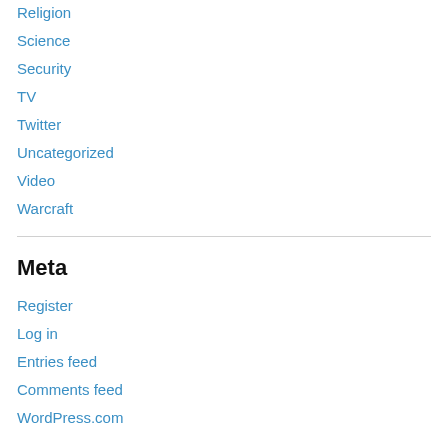Religion
Science
Security
TV
Twitter
Uncategorized
Video
Warcraft
Meta
Register
Log in
Entries feed
Comments feed
WordPress.com